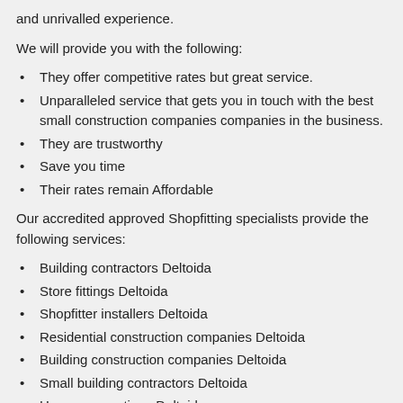and unrivalled experience.
We will provide you with the following:
They offer competitive rates but great service.
Unparalleled service that gets you in touch with the best small construction companies companies in the business.
They are trustworthy
Save you time
Their rates remain Affordable
Our accredited approved Shopfitting specialists provide the following services:
Building contractors Deltoida
Store fittings Deltoida
Shopfitter installers Deltoida
Residential construction companies Deltoida
Building construction companies Deltoida
Small building contractors Deltoida
House renovations Deltoida
Home builders Deltoida
Shopfitting specialists Deltoida
House builders Deltoida
Commercial construction companies Deltoida
Building contractors in Deltoida
Renovation contractors Deltoida
Home improvement contractors Deltoida